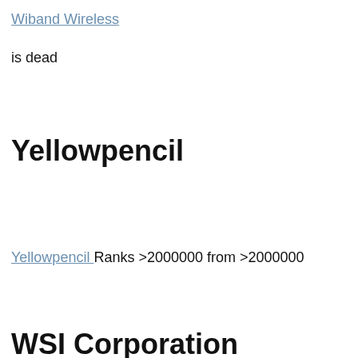Wiband Wireless
is dead
Yellowpencil
Yellowpencil Ranks >2000000 from >2000000
WSI Corporation